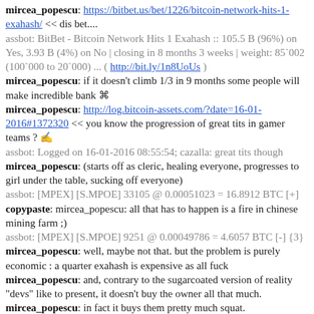mircea_popescu: https://bitbet.us/bet/1226/bitcoin-network-hits-1-exahash/ << dis bet....
assbot: BitBet - Bitcoin Network Hits 1 Exahash :: 105.5 B (96%) on Yes, 3.93 B (4%) on No | closing in 8 months 3 weeks | weight: 85`002 (100`000 to 20`000) ... ( http://bit.ly/1n8UoUs )
mircea_popescu: if it doesn't climb 1/3 in 9 months some people will make incredible bank
mircea_popescu: http://log.bitcoin-assets.com/?date=16-01-2016#1372320 << you know the progression of great tits in gamer teams ?
assbot: Logged on 16-01-2016 08:55:54; cazalla: great tits though
mircea_popescu: (starts off as cleric, healing everyone, progresses to girl under the table, sucking off everyone)
assbot: [MPEX] [S.MPOE] 33105 @ 0.00051023 = 16.8912 BTC [+]
copypaste: mircea_popescu: all that has to happen is a fire in chinese mining farm ;)
assbot: [MPEX] [S.MPOE] 9251 @ 0.00049786 = 4.6057 BTC [-] {3}
mircea_popescu: well, maybe not that. but the problem is purely economic : a quarter exahash is expensive as all fuck
mircea_popescu: and, contrary to the sugarcoated version of reality "devs" like to present, it doesn't buy the owner all that much.
mircea_popescu: in fact it buys them pretty much squat.